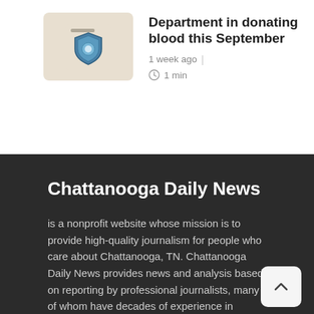[Figure (photo): Small thumbnail image showing a police/law enforcement badge on a beige background]
Department in donating blood this September
1 week ago  |  1 min
Chattanooga Daily News
is a nonprofit website whose mission is to provide high-quality journalism for people who care about Chattanooga, TN. Chattanooga Daily News provides news and analysis based on reporting by professional journalists, many of whom have decades of experience in journalism. The site also includes commentary pieces from the community, and comments from readers on